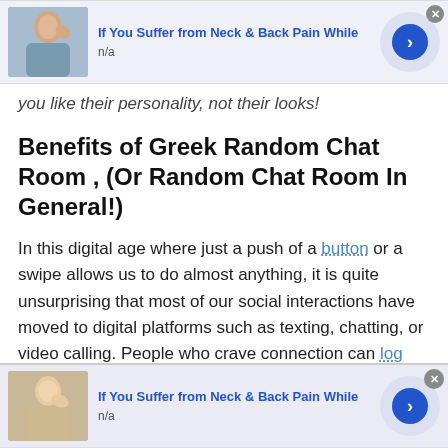[Figure (screenshot): Ad banner at top: 'If You Suffer from Neck & Back Pain While', with photo of person touching neck, arrow button, and close button. Subtitle: n/a]
you like their personality, not their looks!
Benefits of Greek Random Chat Room , (Or Random Chat Room In General!)
In this digital age where just a push of a button or a swipe allows us to do almost anything, it is quite unsurprising that most of our social interactions have moved to digital platforms such as texting, chatting, or video calling. People who crave connection can log onto Talkwithstranger, a site for Greek Random Chat Room
[Figure (screenshot): Ad banner at bottom: 'If You Suffer from Neck & Back Pain While', with photo of woman touching neck, arrow button, and close button. Subtitle: n/a]